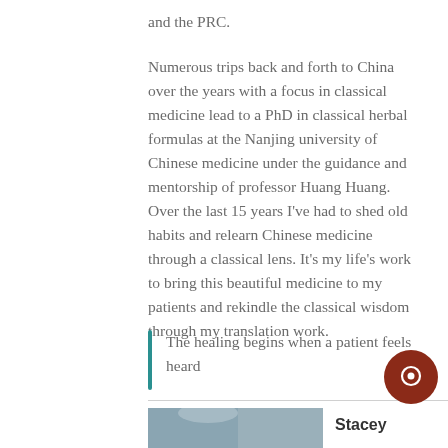and the PRC.
Numerous trips back and forth to China over the years with a focus in classical medicine lead to a PhD in classical herbal formulas at the Nanjing university of Chinese medicine under the guidance and mentorship of professor Huang Huang. Over the last 15 years I've had to shed old habits and relearn Chinese medicine through a classical lens. It's my life's work to bring this beautiful medicine to my patients and rekindle the classical wisdom through my translation work.
The healing begins when a patient feels heard
Stacey